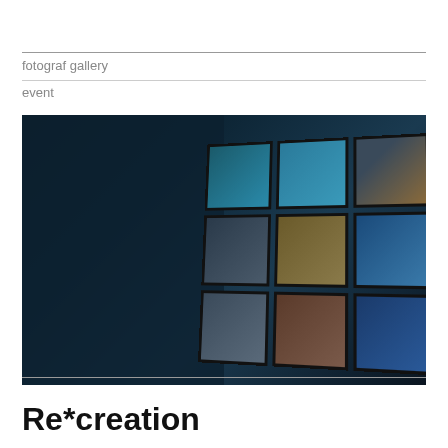fotograf gallery
event
[Figure (photo): Dark room installation showing a grid of 9 video screens arranged in 3x3 pattern mounted on a curved/angled structure, with a dark patterned wallpaper visible on the left side of the room]
Re*creation